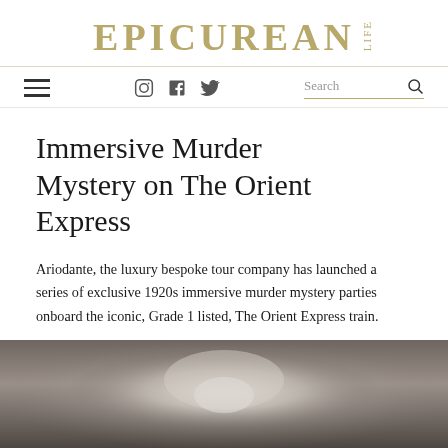EPICUREAN LIFE
Immersive Murder Mystery on The Orient Express
Ariodante, the luxury bespoke tour company has launched a series of exclusive 1920s immersive murder mystery parties onboard the iconic, Grade 1 listed, The Orient Express train.
[Figure (photo): Blurred interior corridor of the Orient Express train, viewed from one end, with warm lighting and dark tones.]